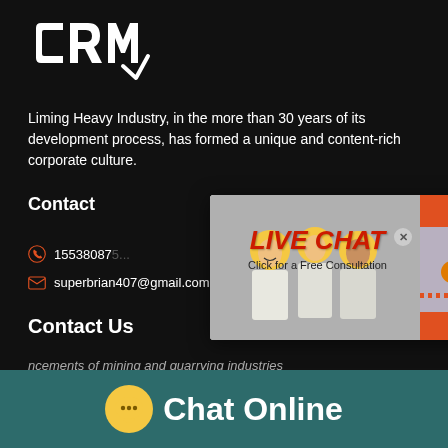[Figure (logo): CRM logo in white on black background, stylized letters]
Liming Heavy Industry, in the more than 30 years of its development process, has formed a unique and content-rich corporate culture.
Contact
15538087
superbrian407@gmail.com
Contact Us
ncements of mining and quarrying industries
[Figure (screenshot): Live chat popup overlay with workers photo, LIVE CHAT heading, Click for a Free Consultation text, Chat now and Chat later buttons, agent photo on right, hour online bar, Click to chat button, Enquiry bar]
[Figure (infographic): Chat Online footer bar with yellow speech bubble icon and Chat Online text in white on teal background]